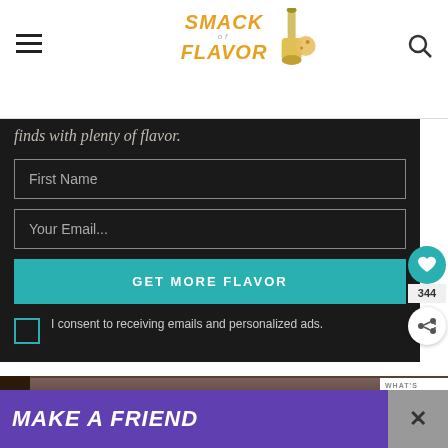Smack of Flavor
finds with plenty of flavor.
First Name
Your Email...
GET MORE FLAVOR
I consent to receiving emails and personalized ads.
344
WHAT'S NEXT → Air Fryer Grilled Cheese
[Figure (photo): Food in a skillet/pan, dark background]
MAKE A FRIEND